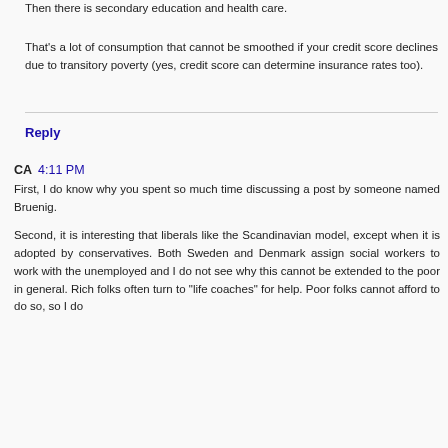Then there is secondary education and health care.
That's a lot of consumption that cannot be smoothed if your credit score declines due to transitory poverty (yes, credit score can determine insurance rates too).
Reply
CA  4:11 PM
First, I do know why you spent so much time discussing a post by someone named Bruenig.
Second, it is interesting that liberals like the Scandinavian model, except when it is adopted by conservatives. Both Sweden and Denmark assign social workers to work with the unemployed and I do not see why this cannot be extended to the poor in general. Rich folks often turn to "life coaches" for help. Poor folks cannot afford to do so, so I do